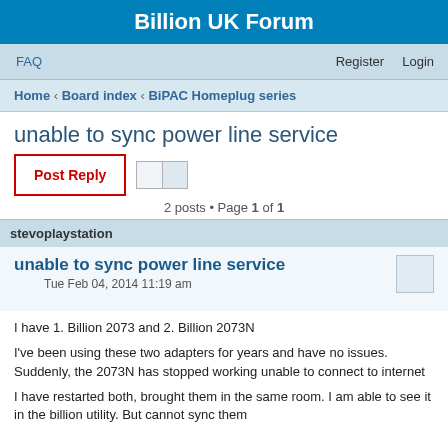Billion UK Forum
FAQ    Register    Login
Home › Board index › BiPAC Homeplug series
unable to sync power line service
Post Reply
2 posts • Page 1 of 1
stevoplaystation
unable to sync power line service
Tue Feb 04, 2014 11:19 am
I have 1. Billion 2073 and 2. Billion 2073N
I've been using these two adapters for years and have no issues. Suddenly, the 2073N has stopped working unable to connect to internet
I have restarted both, brought them in the same room. I am able to see it in the billion utility. But cannot sync them